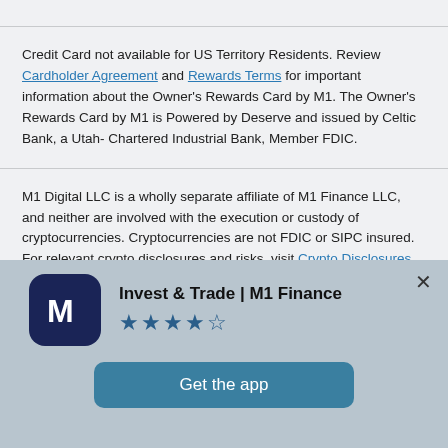Credit Card not available for US Territory Residents. Review Cardholder Agreement and Rewards Terms for important information about the Owner's Rewards Card by M1. The Owner's Rewards Card by M1 is Powered by Deserve and issued by Celtic Bank, a Utah-Chartered Industrial Bank, Member FDIC.
M1 Digital LLC is a wholly separate affiliate of M1 Finance LLC, and neither are involved with the execution or custody of cryptocurrencies. Cryptocurrencies are not FDIC or SIPC insured. For relevant crypto disclosures and risks, visit Crypto Disclosures.
All product and company names are trademarks™ or registered®
[Figure (infographic): App download banner for Invest & Trade | M1 Finance app with 4.5 star rating and Get the app button]